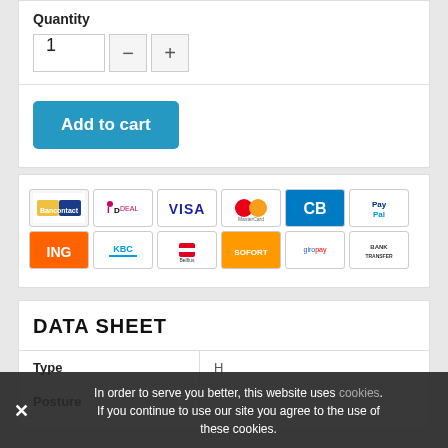Quantity
[Figure (screenshot): Quantity input with value 1, minus button and plus button]
[Figure (infographic): Add to cart blue button]
[Figure (infographic): Payment method icons: Bancontact, iDEAL, VISA, MasterCard, Carte Bleue, PayPal, ING, KBC, Belfius, SOFORT, Giropay, Bank Transfer]
DATA SHEET
| Type |  |
| --- | --- |
| Type | H |
| Posture |  |
|  |  |
In order to serve you better, this website uses cookies. If you continue to use our site you agree to the use of these cookies.